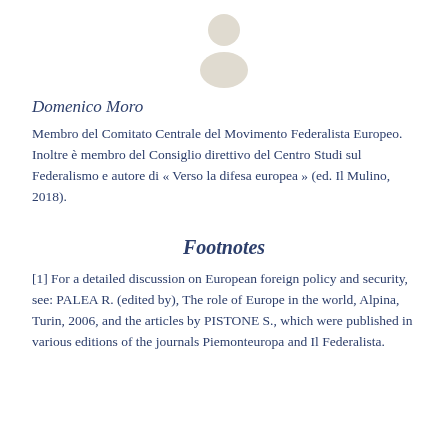[Figure (illustration): Generic person/avatar silhouette icon in light beige/gray color, centered at top of page]
Domenico Moro
Membro del Comitato Centrale del Movimento Federalista Europeo. Inoltre è membro del Consiglio direttivo del Centro Studi sul Federalismo e autore di « Verso la difesa europea » (ed. Il Mulino, 2018).
Footnotes
[1] For a detailed discussion on European foreign policy and security, see: PALEA R. (edited by), The role of Europe in the world, Alpina, Turin, 2006, and the articles by PISTONE S., which were published in various editions of the journals Piemonteuropa and Il Federalista.